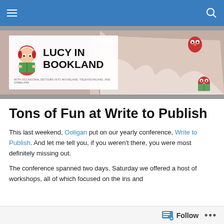Lucy in Bookland — navigation bar
[Figure (illustration): Lucy in Bookland blog banner with illustrated girl reading a book, large open book in background, owl, and site title 'LUCY IN BOOKLAND' with subtitle 'With occasional detours into movieland, televisionland, and gameland']
Tons of Fun at Write to Publish
This last weekend, Ooligan put on our yearly conference, Write to Publish. And let me tell you, if you weren't there, you were most definitely missing out.
The conference spanned two days. Saturday we offered a host of workshops, all of which focused on the ins and
Follow